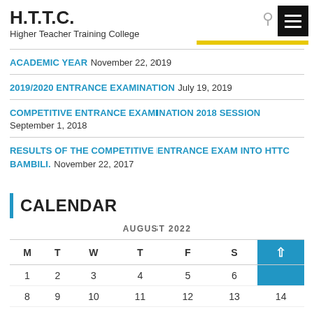H.T.T.C.
Higher Teacher Training College
ACADEMIC YEAR November 22, 2019
2019/2020 ENTRANCE EXAMINATION July 19, 2019
COMPETITIVE ENTRANCE EXAMINATION 2018 SESSION September 1, 2018
RESULTS OF THE COMPETITIVE ENTRANCE EXAM INTO HTTC BAMBILI. November 22, 2017
CALENDAR
| M | T | W | T | F | S | S |
| --- | --- | --- | --- | --- | --- | --- |
| 1 | 2 | 3 | 4 | 5 | 6 |  |
| 8 | 9 | 10 | 11 | 12 | 13 | 14 |